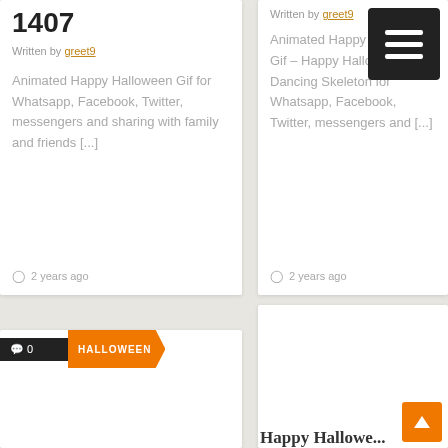1407
Written by greet9
Animated Happy Halloween Gif for Whatsapp, Facebook, Twitter, messengers and sharing with family and friends [...]
2 years ago
Written by greet9
Animated Happy Hallo Gif – Happy Halloween Dancing Skeleton for Whatsapp, Facebook, Twitter, messengers and [...]
2 years ago
0 HALLOWEEN
[Figure (illustration): Halloween themed image with purple gradient background, Halloween title text, jack-o-lantern pumpkin, bare trees, stars, 'Trick or Treat!' text in orange, and GreetingsGif watermark. Badge overlay showing '0' comment count and 'HALLOWEEN' category tag in orange.]
Happy Hallowe...